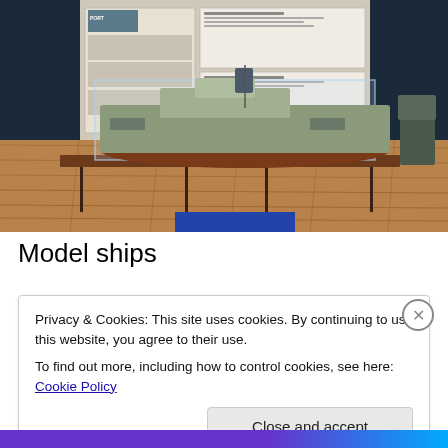[Figure (photo): Museum interior showing a detailed scale model of a ship displayed inside a glass case on a wooden table. The model ship has visible deck structures, funnels, and propellers. Behind the display case are various exhibition panels and boards on the walls. The floor is wooden planking.]
Model ships
Privacy & Cookies: This site uses cookies. By continuing to use this website, you agree to their use.
To find out more, including how to control cookies, see here: Cookie Policy
Close and accept